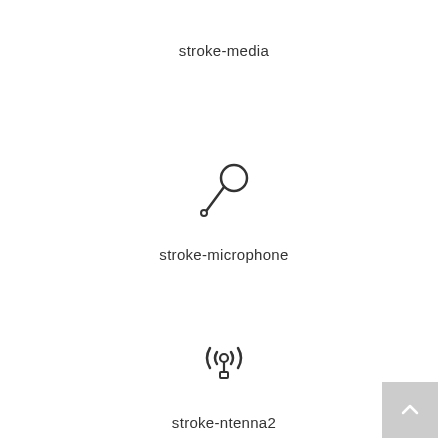stroke-media
[Figure (illustration): Stroke-style microphone icon (handheld mic)]
stroke-microphone
[Figure (illustration): Stroke-style antenna/broadcast icon with signal waves]
stroke-ntenna2